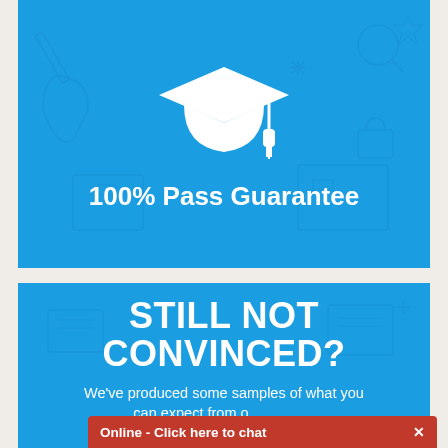[Figure (illustration): White graduation cap icon centered on blue background with faint outline icons of education-related items]
100% Pass Guarantee
STILL NOT CONVINCED?
We've produced some samples of what you can expect from our essays, and these are created by our writers to show you
Online - Click here to chat  ×